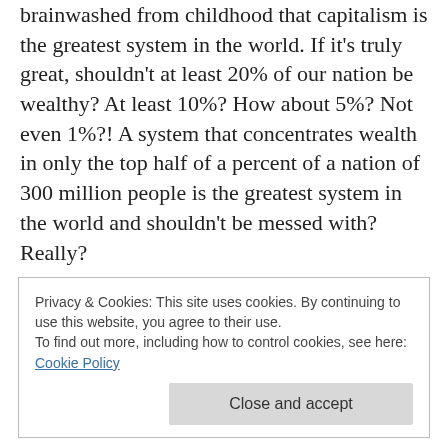brainwashed from childhood that capitalism is the greatest system in the world. If it's truly great, shouldn't at least 20% of our nation be wealthy? At least 10%? How about 5%? Not even 1%?! A system that concentrates wealth in only the top half of a percent of a nation of 300 million people is the greatest system in the world and shouldn't be messed with? Really?
Though the possibility to come from the lower or middle class to become a millionaire exists and occurs, the odds are 99.5% out of 100% that it will never happen.
Privacy & Cookies: This site uses cookies. By continuing to use this website, you agree to their use.
To find out more, including how to control cookies, see here: Cookie Policy